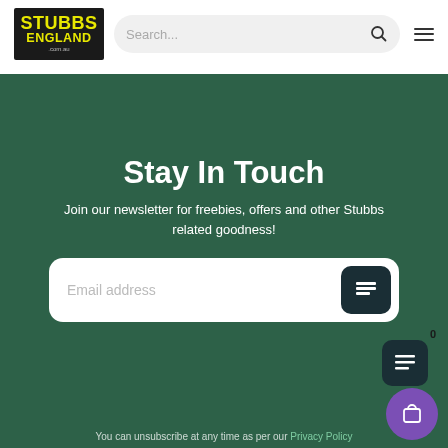[Figure (logo): Stubbs England logo — black background with yellow text]
Search...
Stay In Touch
Join our newsletter for freebies, offers and other Stubbs related goodness!
Email address
You can unsubscribe at any time as per our Privacy Policy